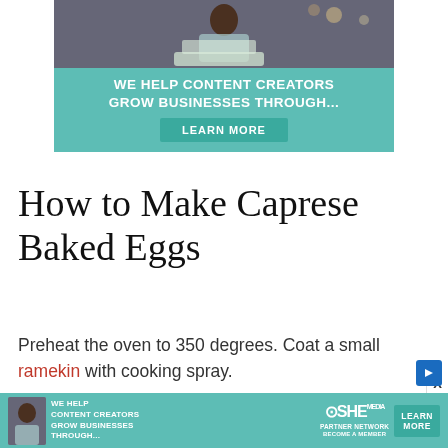[Figure (infographic): Advertisement banner with teal background showing 'WE HELP CONTENT CREATORS GROW BUSINESSES THROUGH...' text and a LEARN MORE button, with a photo of a woman at a laptop at the top.]
How to Make Caprese Baked Eggs
Preheat the oven to 350 degrees. Coat a small ramekin with cooking spray.
Place a couple of tomatoes, some mozzarella che
[Figure (infographic): Bottom advertisement bar with teal background showing 'WE HELP CONTENT CREATORS GROW BUSINESSES THROUGH...' text, SHE Partner Network logo, and LEARN MORE button. Also shows X close button.]